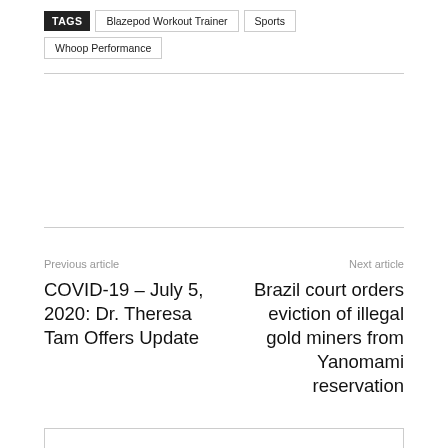TAGS  Blazepod Workout Trainer  Sports  Whoop Performance
Previous article
COVID-19 – July 5, 2020: Dr. Theresa Tam Offers Update
Next article
Brazil court orders eviction of illegal gold miners from Yanomami reservation